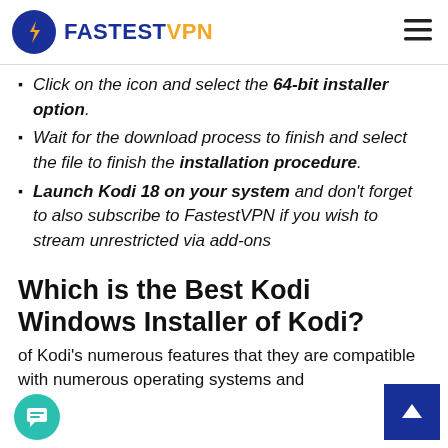FastestVPN
Click on the icon and select the 64-bit installer option.
Wait for the download process to finish and select the file to finish the installation procedure.
Launch Kodi 18 on your system and don't forget to also subscribe to FastestVPN if you wish to stream unrestricted via add-ons
Which is the Best Kodi Windows Installer of Kodi?
of Kodi's numerous features that they are compatible with numerous operating systems and